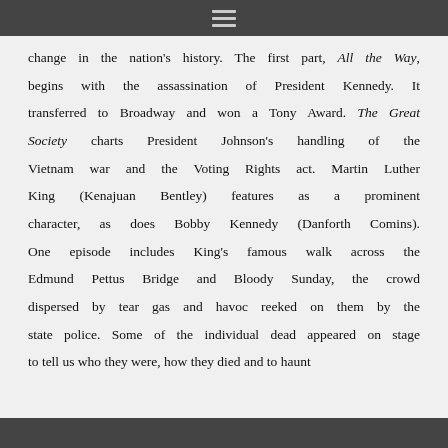☰
change in the nation's history. The first part, All the Way, begins with the assassination of President Kennedy. It transferred to Broadway and won a Tony Award. The Great Society charts President Johnson's handling of the Vietnam war and the Voting Rights act. Martin Luther King (Kenajuan Bentley) features as a prominent character, as does Bobby Kennedy (Danforth Comins). One episode includes King's famous walk across the Edmund Pettus Bridge and Bloody Sunday, the crowd dispersed by tear gas and havoc reeked on them by the state police. Some of the individual dead appeared on stage to tell us who they were, how they died and to haunt